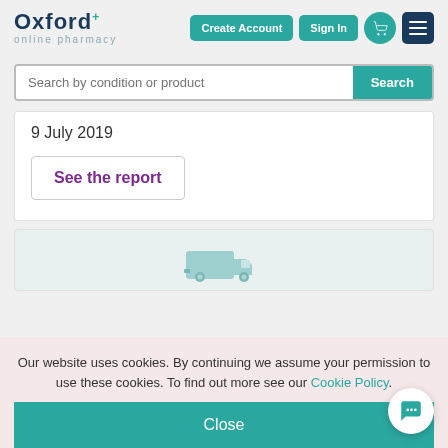[Figure (screenshot): Oxford Online Pharmacy logo with teal plus sign superscript]
Create Account
Sign In
Search by condition or product
Search
9 July 2019
See the report
[Figure (illustration): Teal delivery truck icon]
Our website uses cookies. By continuing we assume your permission to use these cookies. To find out more see our Cookie Policy.
Close